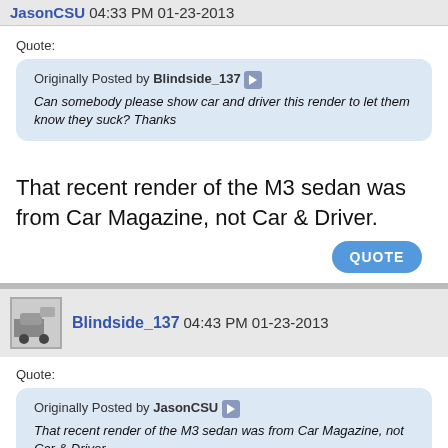JasonCSU 04:33 PM 01-23-2013
Quote:
Originally Posted by Blindside_137
Can somebody please show car and driver this render to let them know they suck? Thanks
That recent render of the M3 sedan was from Car Magazine, not Car & Driver.
QUOTE
Blindside_137 04:43 PM 01-23-2013
Quote:
Originally Posted by JasonCSU
That recent render of the M3 sedan was from Car Magazine, not Car & Driver.